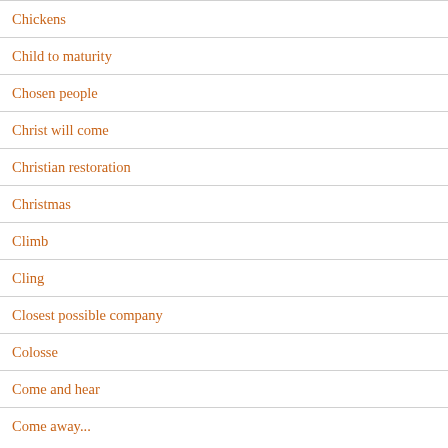Chickens
Child to maturity
Chosen people
Christ will come
Christian restoration
Christmas
Climb
Cling
Closest possible company
Colosse
Come and hear
Come away...